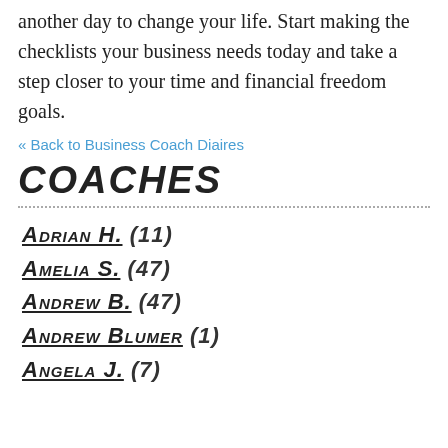another day to change your life. Start making the checklists your business needs today and take a step closer to your time and financial freedom goals.
« Back to Business Coach Diaires
COACHES
Adrian H. (11)
Amelia S. (47)
Andrew B. (47)
Andrew Blumer (1)
Angela J. (7)